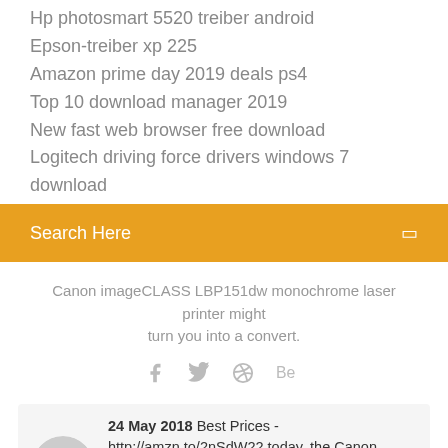Hp photosmart 5520 treiber android
Epson-treiber xp 225
Amazon prime day 2019 deals ps4
Top 10 download manager 2019
New fast web browser free download
Logitech driving force drivers windows 7 download
Search Here
Canon imageCLASS LBP151dw monochrome laser printer might turn you into a convert.
[Figure (illustration): Social media icons: Facebook, Twitter, Dribbble, Behance]
24 May 2018 Best Prices - http://amzn.to/2nSdW22 today, the Canon imageCLASS LBP151dw monochrome laser printer might turn you into a convert.